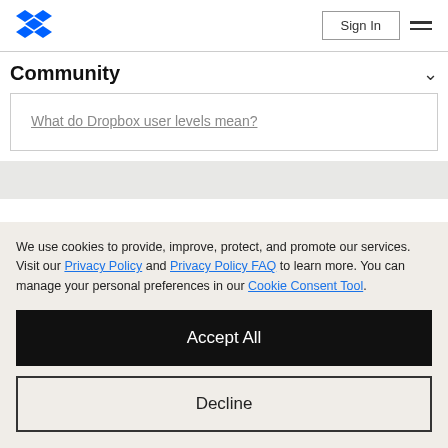[Figure (logo): Dropbox blue diamond logo in the top-left navigation bar]
Sign In
Community
What do Dropbox user levels mean?
We use cookies to provide, improve, protect, and promote our services. Visit our Privacy Policy and Privacy Policy FAQ to learn more. You can manage your personal preferences in our Cookie Consent Tool.
Accept All
Decline